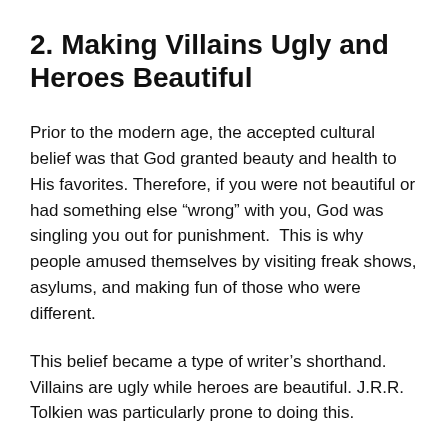2. Making Villains Ugly and Heroes Beautiful
Prior to the modern age, the accepted cultural belief was that God granted beauty and health to His favorites. Therefore, if you were not beautiful or had something else “wrong” with you, God was singling you out for punishment.  This is why people amused themselves by visiting freak shows, asylums, and making fun of those who were different.
This belief became a type of writer’s shorthand. Villains are ugly while heroes are beautiful. J.R.R. Tolkien was particularly prone to doing this.